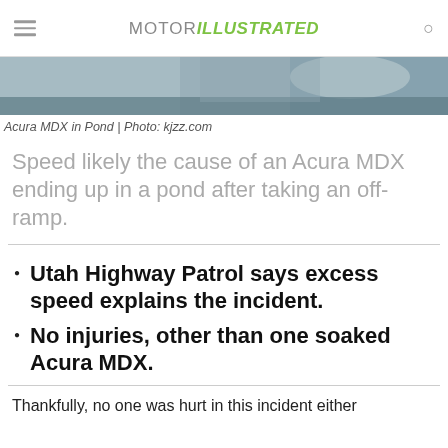MOTOR ILLUSTRATED
[Figure (photo): Partial view of an Acura MDX in a pond, showing the rear of the vehicle partially submerged in water with a rocky/muddy background.]
Acura MDX in Pond | Photo: kjzz.com
Speed likely the cause of an Acura MDX ending up in a pond after taking an off-ramp.
Utah Highway Patrol says excess speed explains the incident.
No injuries, other than one soaked Acura MDX.
Thankfully, no one was hurt in this incident either